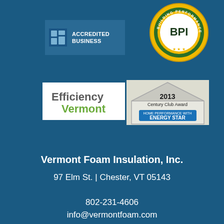[Figure (logo): BBB Accredited Business badge with blue background and white text]
[Figure (logo): Building Performance Institute (BPI) circular seal logo with gold and green colors]
[Figure (logo): Efficiency Vermont logo with green and grey text on white background]
[Figure (logo): 2013 Century Club Award - Home Performance with ENERGY STAR badge showing house outline]
Vermont Foam Insulation, Inc.
97 Elm St. | Chester, VT 05143
802-231-4606
info@vermontfoam.com